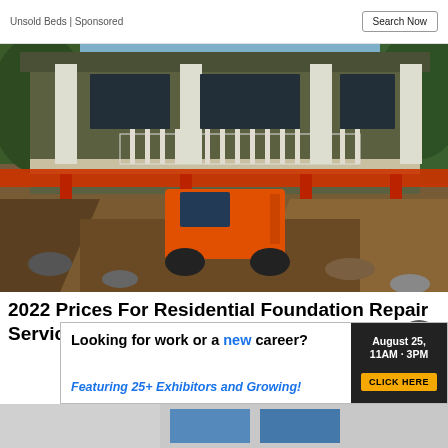Unsold Beds | Sponsored
Search Now
[Figure (photo): Construction photo showing a house lifted on steel beams with an orange skid-steer loader underneath, surrounded by excavated dirt and debris.]
2022 Prices For Residential Foundation Repair Services could be cheaper than you...
[Figure (infographic): Banner advertisement: Looking for work or a new career? August 25, 11AM - 3PM. Featuring 25+ Exhibitors and Growing! CLICK HERE]
[Figure (photo): Partial bottom strip showing another advertisement or image.]